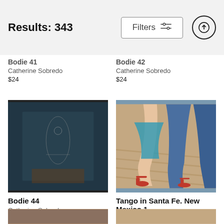Results: 343
Bodie 41
Catherine Sobredo
$24
Bodie 42
Catherine Sobredo
$24
[Figure (photo): Reflection of a figure in a store window in Bodie, dark framing]
Bodie 44
Catherine Sobredo
$24
[Figure (photo): Close-up of tango dancers' legs and red heeled shoes on a wooden floor]
Tango in Santa Fe. New Mexico 1
Catherine Sobredo
$24
[Figure (photo): Partial bottom image, left item]
[Figure (photo): Partial bottom image, right item]